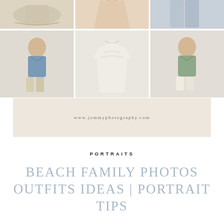[Figure (photo): 6-image collage grid of beach family photo outfit ideas: top row shows partial clothing items (beige skirt, peach maxi dress, light blue pants), bottom row shows full outfits (man in blue linen shirt with khaki shorts, white smocked baby/toddler dress, man in sage green shirt with white shorts)]
www.jommyphotography.com
PORTRAITS
BEACH FAMILY PHOTOS OUTFITS IDEAS | PORTRAIT TIPS